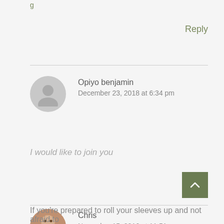Reply
Opiyo benjamin
December 23, 2018 at 6:34 pm
I would like to join you
Reply
Chris
November 15, 2016 at 11:51 pm
If you're prepared to roll your sleeves up and not afraid to